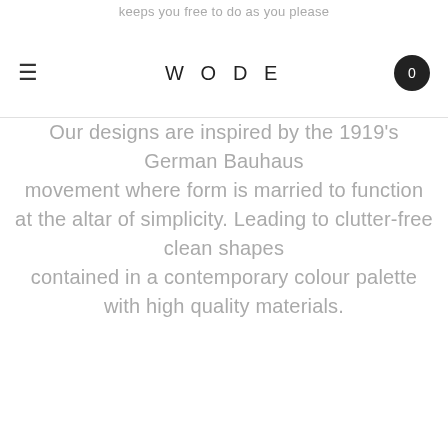keeps you free to do as you please
WODE
Our designs are inspired by the 1919's German Bauhaus movement where form is married to function at the altar of simplicity. Leading to clutter-free clean shapes contained in a contemporary colour palette with high quality materials.